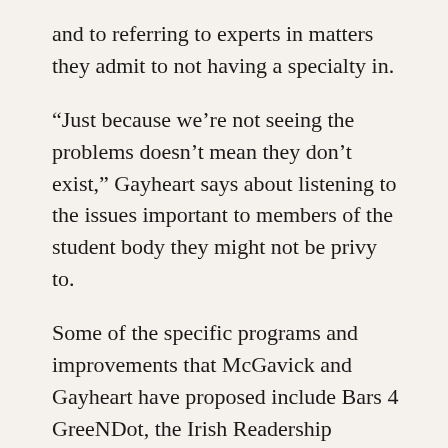and to referring to experts in matters they admit to not having a specialty in.
“Just because we’re not seeing the problems doesn’t mean they don’t exist,” Gayheart says about listening to the issues important to members of the student body they might not be privy to.
Some of the specific programs and improvements that McGavick and Gayheart have proposed include Bars 4 GreeNDot, the Irish Readership Program, the Anonymous Student Blog, recognizing Gala ND as the official voice for the LGBT community on campus and pregnancy